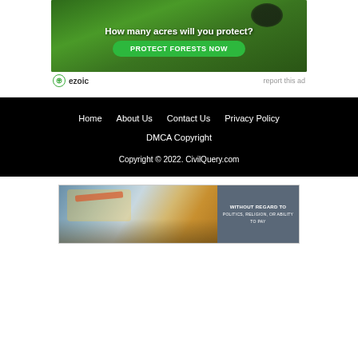[Figure (illustration): Advertisement banner: green forest/nature background with a bird, text 'How many acres will you protect?' and green button 'PROTECT FORESTS NOW']
ezoic   report this ad
Home   About Us   Contact Us   Privacy Policy
DMCA Copyright
Copyright © 2022. CivilQuery.com
[Figure (photo): Advertisement image showing an airplane being loaded with cargo, with text overlay 'WITHOUT REGARD TO POLITICS, RELIGION, OR ABILITY TO PAY']